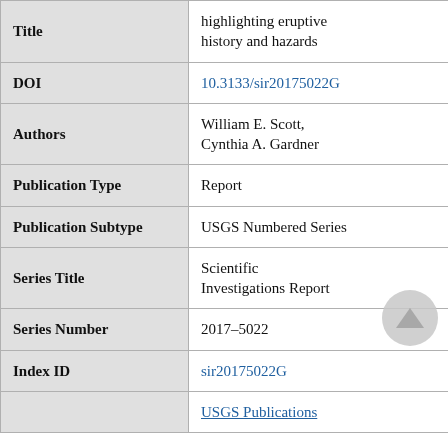| Field | Value |
| --- | --- |
| Title | highlighting eruptive history and hazards |
| DOI | 10.3133/sir20175022G |
| Authors | William E. Scott, Cynthia A. Gardner |
| Publication Type | Report |
| Publication Subtype | USGS Numbered Series |
| Series Title | Scientific Investigations Report |
| Series Number | 2017–5022 |
| Index ID | sir20175022G |
|  | USGS Publications |